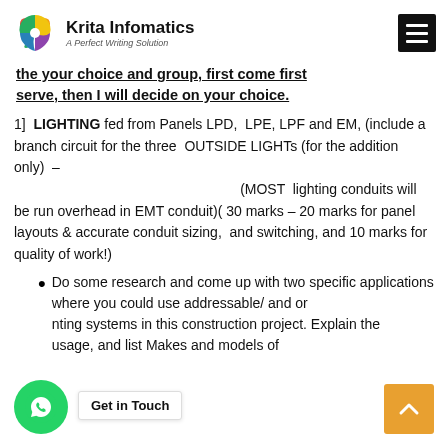Krita Infomatics — A Perfect Writing Solution
the your choice and group, first come first serve, then I will decide on your choice.
1]  LIGHTING fed from Panels LPD, LPE, LPF and EM, (include a branch circuit for the three OUTSIDE LIGHTs (for the addition only) – (MOST lighting conduits will be run overhead in EMT conduit)( 30 marks – 20 marks for panel layouts & accurate conduit sizing, and switching, and 10 marks for quality of work!)
Do some research and come up with two specific applications where you could use addressable/ and or ting systems in this construction project. Explain the usage, and list Makes and models of